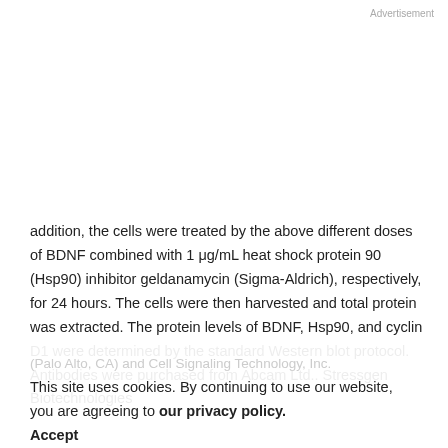Advertisement
addition, the cells were treated by the above different doses of BDNF combined with 1 μg/mL heat shock protein 90 (Hsp90) inhibitor geldanamycin (Sigma-Aldrich), respectively, for 24 hours. The cells were then harvested and total protein was extracted. The protein levels of BDNF, Hsp90, and cyclin D1 were determined by the standard Western blot protocol. Antibodies were purchased from Abcam Ltd.. Stressgen Biotechnologies
This site uses cookies. By continuing to use our website, you are agreeing to our privacy policy.
Accept
Cell Proliferation Assay. Cell proliferation was